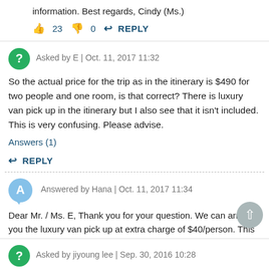information. Best regards, Cindy (Ms.)
👍 23   👎 0   ↩ REPLY
Asked by E | Oct. 11, 2017 11:32
So the actual price for the trip as in the itinerary is $490 for two people and one room, is that correct? There is luxury van pick up in the itinerary but I also see that it isn't included. This is very confusing. Please advise.
Answers (1)
↩ REPLY
Answered by Hana | Oct. 11, 2017 11:34
Dear Mr. / Ms. E, Thank you for your question. We can arrange you the luxury van pick up at extra charge of $40/person. This is not included in the cabin rate, as mentioned in the cruise policy section. Best regards,
👍 11   👎 0   ↩ REPLY
Asked by jiyoung lee | Sep. 30, 2016 10:28